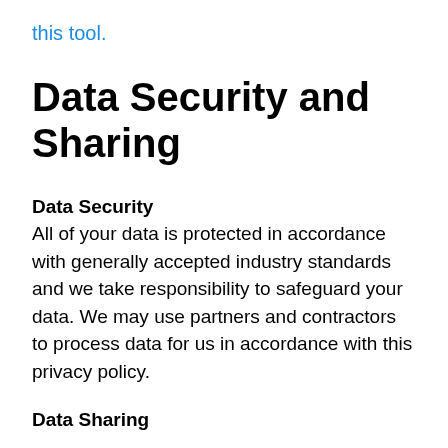this tool.
Data Security and Sharing
Data Security
All of your data is protected in accordance with generally accepted industry standards and we take responsibility to safeguard your data. We may use partners and contractors to process data for us in accordance with this privacy policy.
Data Sharing